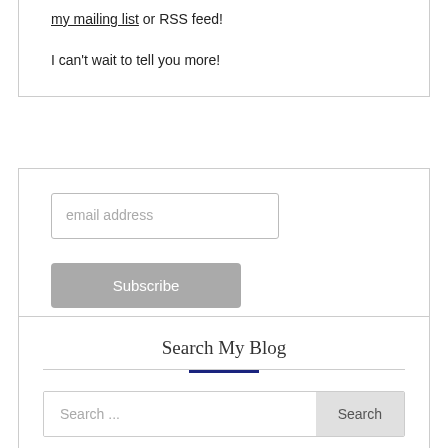my mailing list or RSS feed!
I can't wait to tell you more!
email address
Subscribe
Search My Blog
Search ...
Search